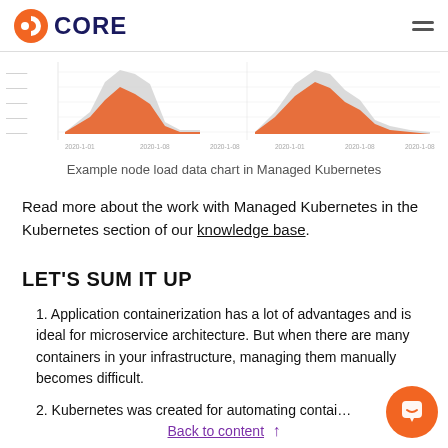CORE
[Figure (area-chart): Example node load data chart showing two area chart clusters with orange and grey areas over time axis. Left cluster shows a tall spike, right cluster shows a moderate hump.]
Example node load data chart in Managed Kubernetes
Read more about the work with Managed Kubernetes in the Kubernetes section of our knowledge base.
LET'S SUM IT UP
1. Application containerization has a lot of advantages and is ideal for microservice architecture. But when there are many containers in your infrastructure, managing them manually becomes difficult.
2. Kubernetes was created for automating contai…
Back to content ↑